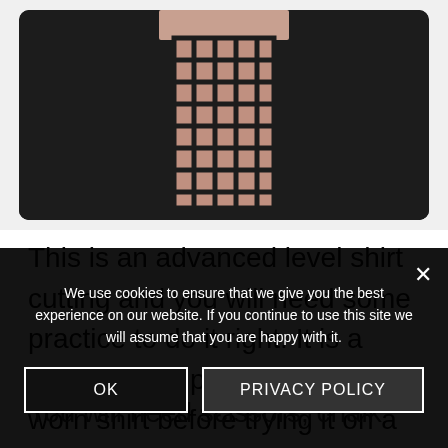[Figure (photo): Person wearing a black shirt with a grid/lattice cutout pattern on the back, photographed from behind against a light background.]
This is an advanced level shirt cutting and you will need some practice to do it right. It is a good idea to practice on an old, worn shirt before trying it on a good shirt. You will need scissors, chalk for marking
We use cookies to ensure that we give you the best experience on our website. If you continue to use this site we will assume that you are happy with it.
OK
PRIVACY POLICY